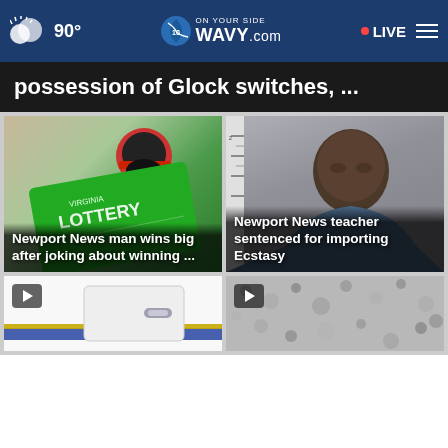90° WAVY.com ON YOUR SIDE 10 — LIVE
possession of Glock switches, ...
[Figure (photo): Man wearing red cap and black mask holding a green Virginia Lottery ticket]
Newport News man wins big after joking about winning ...
[Figure (photo): Mugshot of Newport News teacher]
Newport News teacher sentenced for importing Ecstasy
[Figure (photo): Vehicle door handle, partial view of white van with blue and gold markings, play button overlay]
[Figure (photo): Gravel or rocky surface close-up, play button overlay]